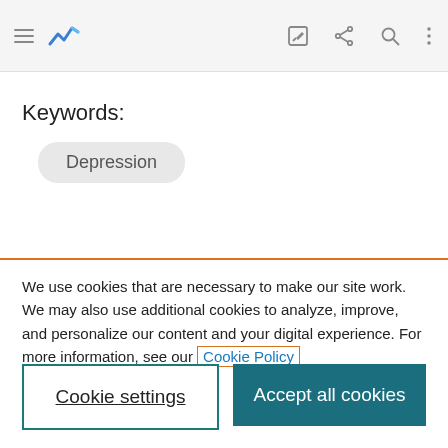[Figure (screenshot): Browser/app toolbar with hamburger menu icon, blue analytics logo, edit icon, share icon, search icon, and vertical dots menu icon on a light grey background]
Keywords:
Depression
We use cookies that are necessary to make our site work. We may also use additional cookies to analyze, improve, and personalize our content and your digital experience. For more information, see our Cookie Policy
Cookie settings
Accept all cookies